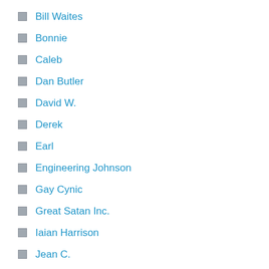Bill Waites
Bonnie
Caleb
Dan Butler
David W.
Derek
Earl
Engineering Johnson
Gay Cynic
Great Satan Inc.
Iaian Harrison
Jean C.
Keewee's Corner